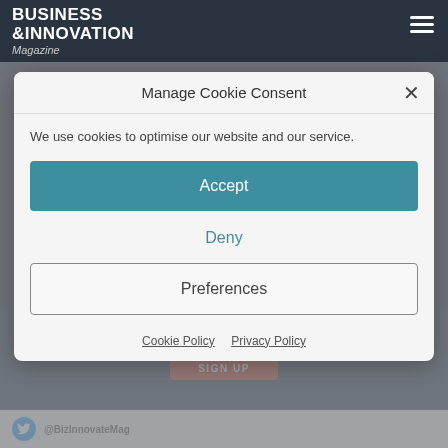BUSINESS & INNOVATION Magazine
Manage Cookie Consent
We use cookies to optimise our website and our service.
Accept
Deny
Preferences
Cookie Policy  Privacy Policy